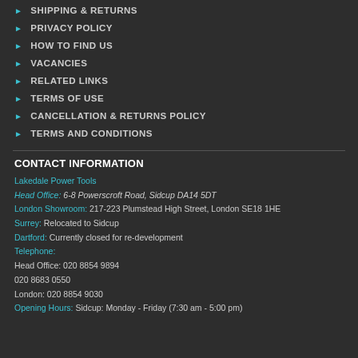SHIPPING & RETURNS
PRIVACY POLICY
HOW TO FIND US
VACANCIES
RELATED LINKS
TERMS OF USE
CANCELLATION & RETURNS POLICY
TERMS AND CONDITIONS
CONTACT INFORMATION
Lakedale Power Tools
Head Office: 6-8 Powerscroft Road, Sidcup DA14 5DT
London Showroom: 217-223 Plumstead High Street, London SE18 1HE
Surrey: Relocated to Sidcup
Dartford: Currently closed for re-development
Telephone:
Head Office: 020 8854 9894
020 8683 0550
London: 020 8854 9030
Opening Hours: Sidcup: Monday - Friday (7:30 am - 5:00 pm)